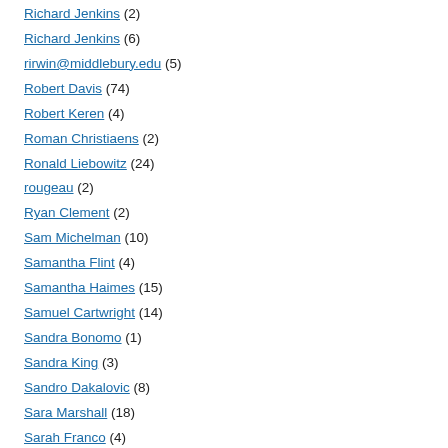Richard Jenkins (2)
Richard Jenkins (6)
rirwin@middlebury.edu (5)
Robert Davis (74)
Robert Keren (4)
Roman Christiaens (2)
Ronald Liebowitz (24)
rougeau (2)
Ryan Clement (2)
Sam Michelman (10)
Samantha Flint (4)
Samantha Haimes (15)
Samuel Cartwright (14)
Sandra Bonomo (1)
Sandra King (3)
Sandro Dakalovic (8)
Sara Marshall (18)
Sarah Franco (4)
Sarah Karerat (5)